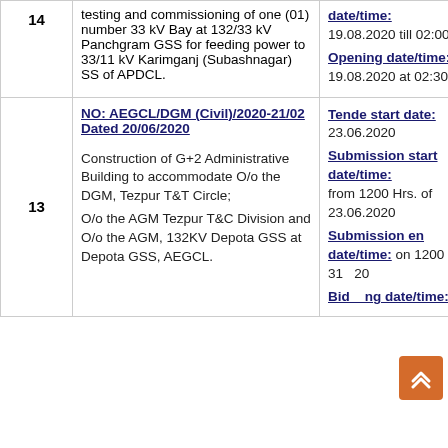| # | Description | Dates |
| --- | --- | --- |
| 14 | testing and commissioning of one (01) number 33 kV Bay at 132/33 kV Panchgram GSS for feeding power to 33/11 kV Karimganj (Subashnagar) SS of APDCL. | date/time: 19.08.2020 till 02:00 PM.
Opening date/time: 19.08.2020 at 02:30 PM. |
| 13 | NO: AEGCL/DGM (Civil)/2020-21/02 Dated 20/06/2020
Construction of G+2 Administrative Building to accommodate O/o the DGM, Tezpur T&T Circle;
O/o the AGM Tezpur T&C Division and O/o the AGM, 132KV Depota GSS at Depota GSS, AEGCL. | Tende start date: 23.06.2020
Submission start date/time: from 1200 Hrs. of 23.06.2020
Submission end date/time: on 1200 Hrs. of 31...20
Bid...ng date/time: 150... |